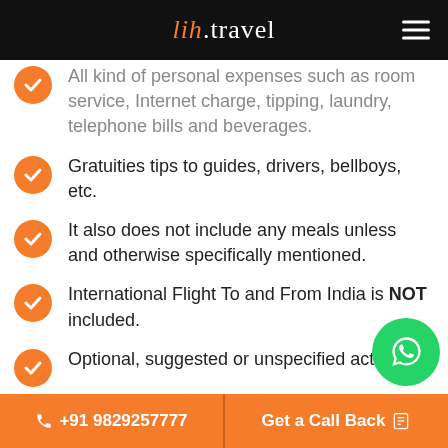lih.travel
All kind of personal expenses such as room service, Internet charge, tipping, laundry, telephone bills and beverages.
Gratuities tips to guides, drivers, bellboys, etc.
It also does not include any meals unless and otherwise specifically mentioned.
International Flight To and From India is NOT included.
Optional, suggested or unspecified activities
Camera fee (still or movie)
📞 +91 9829257777   Get a Call Back 🗒